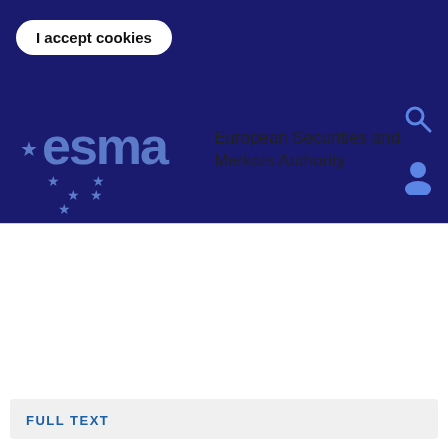I accept cookies
[Figure (logo): ESMA logo — European Securities and Markets Authority with EU stars and search/user icons]
FULL TEXT